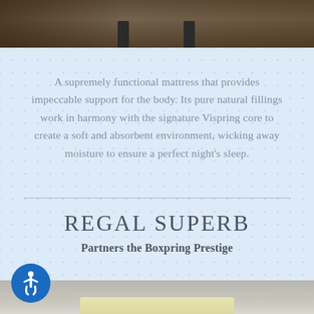[Figure (photo): Top portion of a bed/mattress product photo showing dark wooden floor and bed legs]
A supremely functional mattress that provides impeccable support for the body. Its pure natural fillings work in harmony with the signature Vispring core to create a soft and absorbent environment, wicking away moisture to ensure a perfect night's sleep.
REGAL SUPERB
Partners the Boxpring Prestige
[Figure (photo): Bottom portion showing a mattress product, cream/yellow colored fabric visible]